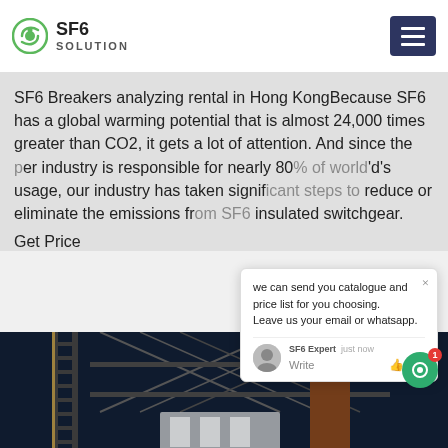SF6 SOLUTION
SF6 Breakers analyzing rental in Hong KongBecause SF6 has a global warming potential that is almost 24,000 times greater than CO2, it gets a lot of attention. And since the [power] industry is responsible for nearly 80[%] [of the world]'s usage, our industry has taken signif[icant steps to] reduce or eliminate the emissions fr[om SF6-]insulated switchgear.
Get Price
[Figure (photo): Nighttime industrial/electrical infrastructure scene showing metal lattice structures, a ladder, and large cylindrical tower elements, lit against a dark sky.]